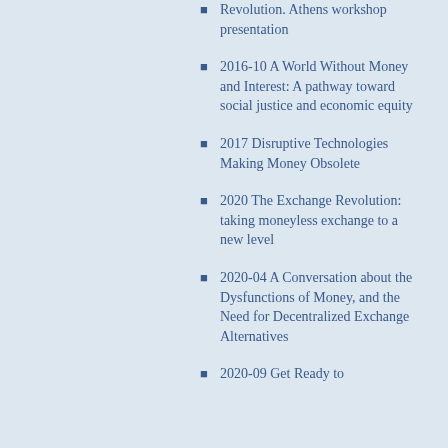Revolution. Athens workshop presentation
2016-10 A World Without Money and Interest: A pathway toward social justice and economic equity
2017 Disruptive Technologies Making Money Obsolete
2020 The Exchange Revolution: taking moneyless exchange to a new level
2020-04 A Conversation about the Dysfunctions of Money, and the Need for Decentralized Exchange Alternatives
2020-09 Get Ready to